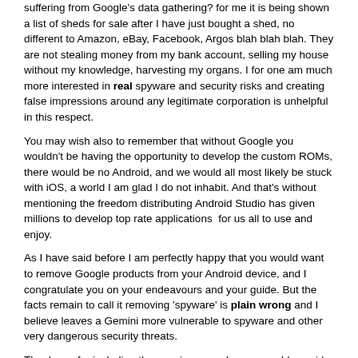suffering from Google's data gathering? for me it is being shown a list of sheds for sale after I have just bought a shed, no different to Amazon, eBay, Facebook, Argos blah blah blah. They are not stealing money from my bank account, selling my house without my knowledge, harvesting my organs. I for one am much more interested in real spyware and security risks and creating false impressions around any legitimate corporation is unhelpful in this respect.
You may wish also to remember that without Google you wouldn't be having the opportunity to develop the custom ROMs, there would be no Android, and we would all most likely be stuck with iOS, a world I am glad I do not inhabit. And that's without mentioning the freedom distributing Android Studio has given millions to develop top rate applications  for us all to use and enjoy.
As I have said before I am perfectly happy that you would want to remove Google products from your Android device, and I congratulate you on your endeavours and your guide. But the facts remain to call it removing 'spyware' is plain wrong and I believe leaves a Gemini more vulnerable to spyware and other very dangerous security threats.
Thank you for including the warnings, maybe you would consider remove 'spyware' from the title and description too?
Title: [GUIDE] How to remove ALL spyware from Gemini! (Google, MTK)